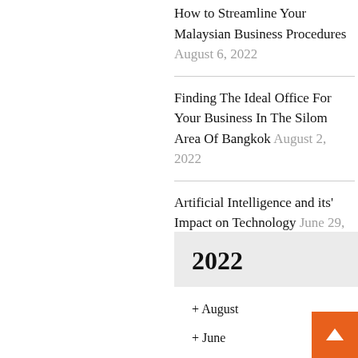How to Streamline Your Malaysian Business Procedures August 6, 2022
Finding The Ideal Office For Your Business In The Silom Area Of Bangkok August 2, 2022
Artificial Intelligence and its' Impact on Technology June 29, 2022
2022
+ August (4)
+ June (2)
+ May (3)
+ April (2)
+ March (2)
+ February (3)
+ January (9)